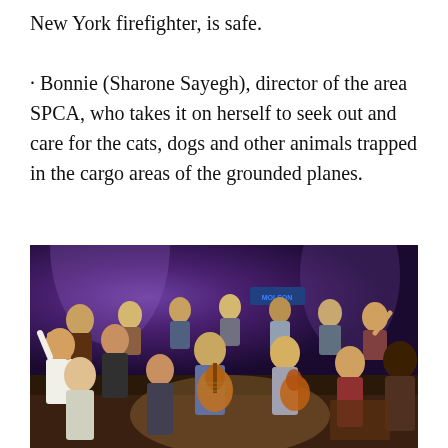New York firefighter, is safe.
· Bonnie (Sharone Sayegh), director of the area SPCA, who takes it on herself to seek out and care for the cats, dogs and other animals trapped in the cargo areas of the grounded planes.
[Figure (photo): Stage performance photo showing a large ensemble cast of actors/musicians on a theatrical stage with purple/blue lighting. A central figure plays acoustic guitar while other cast members dance and celebrate around them. The scene appears to be from a Broadway or theatrical production.]